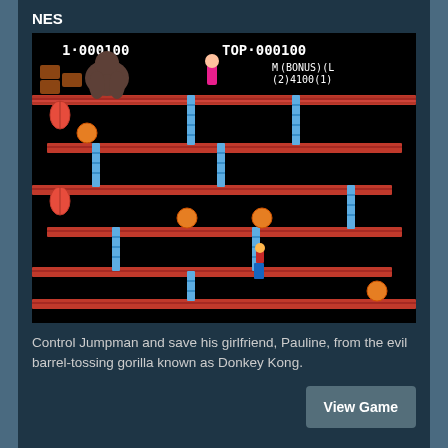NES
[Figure (screenshot): Donkey Kong NES game screenshot showing multi-level platform gameplay with Jumpman, Pauline, Donkey Kong, ladders, barrels, and score display showing 1-000100 TOP-000100 M(2) BONUS 4100 L(1)]
Control Jumpman and save his girlfriend, Pauline, from the evil barrel-tossing gorilla known as Donkey Kong.
View Game
Donkey Kong 3 (World)
NES